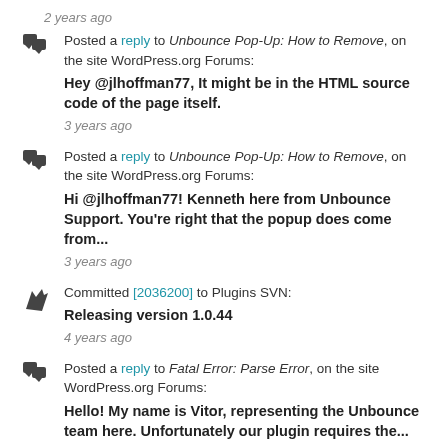2 years ago
Posted a reply to Unbounce Pop-Up: How to Remove, on the site WordPress.org Forums: Hey @jlhoffman77, It might be in the HTML source code of the page itself.
3 years ago
Posted a reply to Unbounce Pop-Up: How to Remove, on the site WordPress.org Forums: Hi @jlhoffman77! Kenneth here from Unbounce Support. You're right that the popup does come from...
3 years ago
Committed [2036200] to Plugins SVN: Releasing version 1.0.44
4 years ago
Posted a reply to Fatal Error: Parse Error, on the site WordPress.org Forums: Hello! My name is Vitor, representing the Unbounce team here. Unfortunately our plugin requires the...
4 years ago